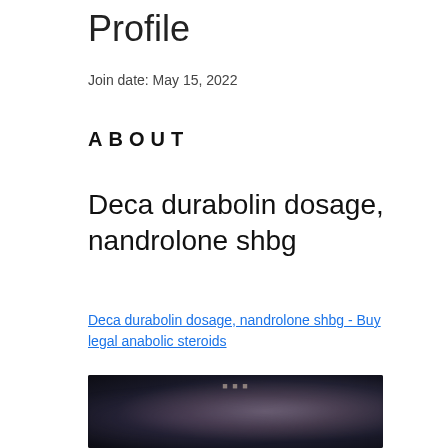Profile
Join date: May 15, 2022
ABOUT
Deca durabolin dosage, nandrolone shbg
Deca durabolin dosage, nandrolone shbg - Buy legal anabolic steroids
[Figure (photo): Blurred dark product image with faint text at top]